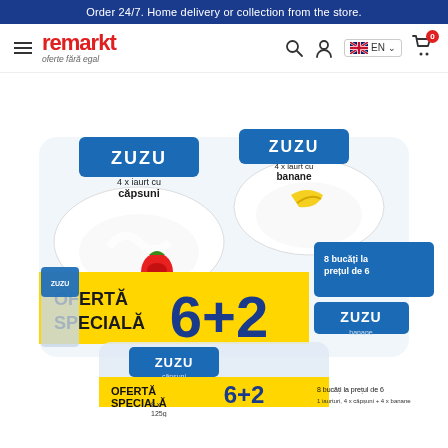Order 24/7. Home delivery or collection from the store.
[Figure (screenshot): Remarkt online grocery store navbar with hamburger menu, Remarkt logo with tagline 'oferte fără egal', search icon, user icon, EN language selector with UK flag, and shopping cart with 0 badge]
[Figure (photo): Zuzu yogurt multipack 8x125g (6+2 OFERTĂ SPECIALĂ) showing strawberry (căpsuni) and banana (banane) flavored yogurt cups with promotional label '8 bucăți la prețul de 6']